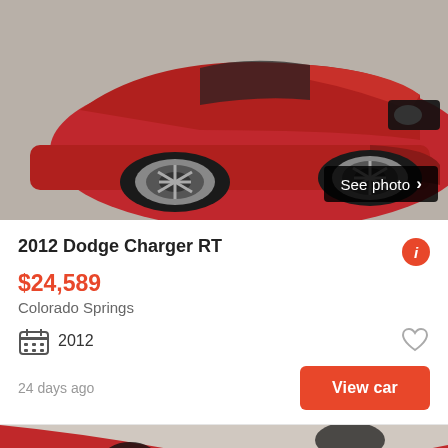[Figure (photo): Red Dodge Charger RT viewed from front-side angle, parked indoors on a concrete floor. Silver alloy wheels visible. Dark background.]
2012 Dodge Charger RT
$24,589
Colorado Springs
2012
24 days ago
View car
[Figure (photo): Red Dodge Charger viewed from front angle showing hood, grille and headlight. Outdoor setting.]